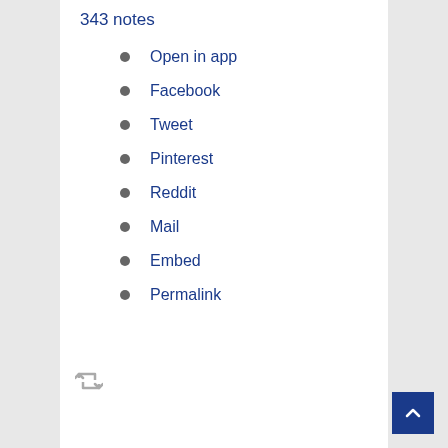343 notes
Open in app
Facebook
Tweet
Pinterest
Reddit
Mail
Embed
Permalink
[Figure (other): Reblog/retweet icon (two arrows forming a loop)]
[Figure (other): Back to top button - dark blue square with upward chevron arrow]